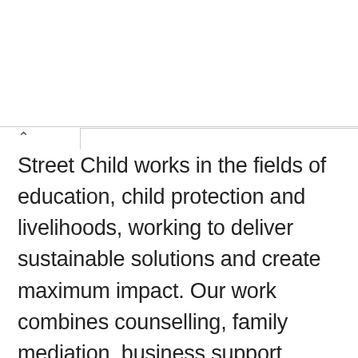Street Child works in the fields of education, child protection and livelihoods, working to deliver sustainable solutions and create maximum impact. Our work combines counselling, family mediation, business support, school building, teacher training and child protection.  We were a key player in the Ebola crisis and led the global response for children orphaned by Ebola in Sierra Leone and Liberia. We deliver all our programmes through local partners and, since 2008, together we have built/renovated over 200 schools and are now helping to educate over 40,000 young people.